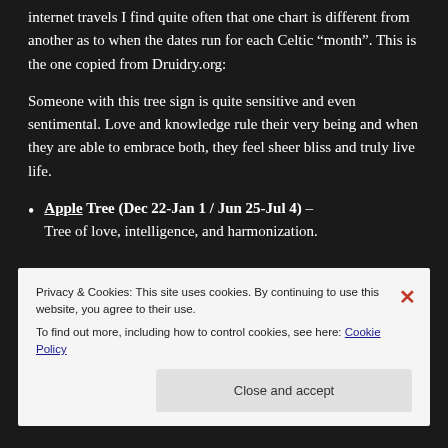internet travels I find quite often that one chart is different from another as to when the dates run for each Celtic “month”. This is the one copied from Druidry.org:
Someone with this tree sign is quite sensitive and even sentimental. Love and knowledge rule their very being and when they are able to embrace both, they feel sheer bliss and truly live life.
Apple Tree (Dec 22-Jan 1 / Jun 25-Jul 4) – Tree of love, intelligence, and harmonization.
Privacy & Cookies: This site uses cookies. By continuing to use this website, you agree to their use.
To find out more, including how to control cookies, see here: Cookie Policy
Close and accept